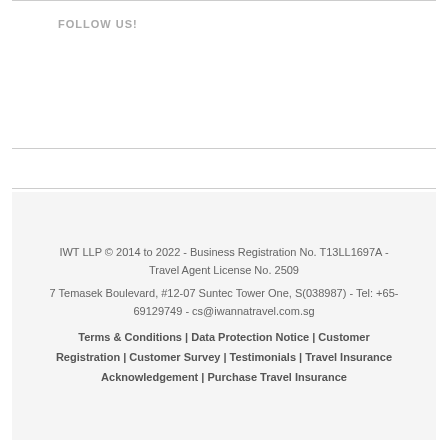FOLLOW US!
IWT LLP © 2014 to 2022 - Business Registration No. T13LL1697A - Travel Agent License No. 2509
7 Temasek Boulevard, #12-07 Suntec Tower One, S(038987) - Tel: +65-69129749 - cs@iwannatravel.com.sg
Terms & Conditions | Data Protection Notice | Customer Registration | Customer Survey | Testimonials | Travel Insurance Acknowledgement | Purchase Travel Insurance